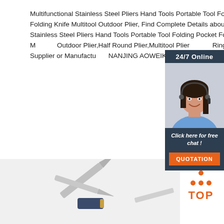Multifunctional Stainless Steel Pliers Hand Tools Portable Tool Folding Pocket Folding Knife Multitool Outdoor Plier, Find Complete Details about Multifunctional Stainless Steel Pliers Hand Tools Portable Tool Folding Pocket Folding Knife Multitool Outdoor Plier,Half Round Plier,Multitool Plier,Spring Ring Pliers from Pliers Supplier or Manufacturer-NANJING AOWEIK TRADING CO.,LTD.
Get Price
[Figure (photo): 24/7 Online chat widget with a smiling female customer service agent wearing a headset, dark navy background, with orange QUOTATION button and italic 'Click here for free chat!' text]
[Figure (photo): Folding pocket knives / multitool outdoor plier product photo on light gray background]
[Figure (logo): TOP button with orange dots arranged in triangle above orange TOP text]